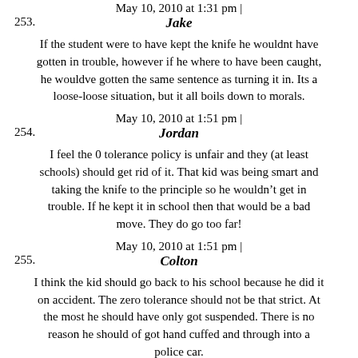May 10, 2010 at 1:31 pm |
253. Jake
If the student were to have kept the knife he wouldnt have gotten in trouble, however if he where to have been caught, he wouldve gotten the same sentence as turning it in. Its a loose-loose situation, but it all boils down to morals.
May 10, 2010 at 1:51 pm |
254. Jordan
I feel the 0 tolerance policy is unfair and they (at least schools) should get rid of it. That kid was being smart and taking the knife to the principle so he wouldn’t get in trouble. If he kept it in school then that would be a bad move. They do go too far!
May 10, 2010 at 1:51 pm |
255. Colton
I think the kid should go back to his school because he did it on accident. The zero tolerance should not be that strict. At the most he should have only got suspended. There is no reason he should of got hand cuffed and through into a police car.